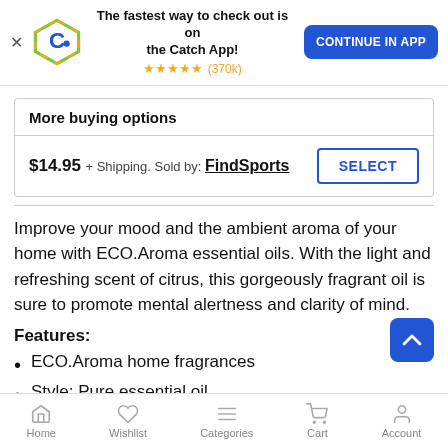[Figure (infographic): Catch app promotional banner with Catch logo (blue C on orange/green pentagon shape), text 'The fastest way to check out is on the Catch App!', 5 gold stars and (370k) reviews, and a blue 'CONTINUE IN APP' button]
More buying options
$14.95 + Shipping. Sold by: FindSports
Improve your mood and the ambient aroma of your home with ECO.Aroma essential oils. With the light and refreshing scent of citrus, this gorgeously fragrant oil is sure to promote mental alertness and clarity of mind.
Features:
ECO.Aroma home fragrances
Style: Pure essential oil
Scent: Lemon
Home  Wishlist  Categories  Cart  Account